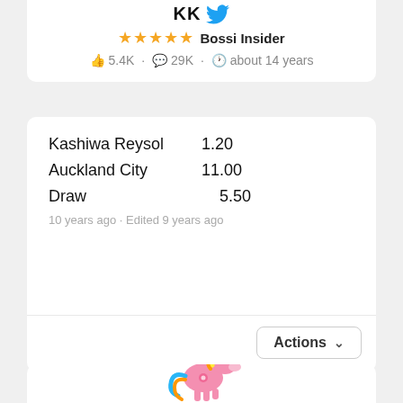KK [twitter icon] ★★★★★ Bossi Insider · 👍 5.4K · 💬 29K · 🕐 about 14 years
Kashiwa Reysol   1.20
Auckland City   11.00
Draw   5.50
10 years ago · Edited 9 years ago
Actions ∨
[Figure (illustration): Pink My Little Pony-style cartoon horse with colorful mane, partially visible at the bottom of the page]